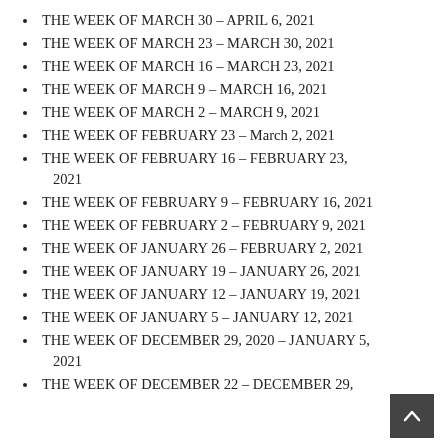THE WEEK OF MARCH 30 – APRIL 6, 2021
THE WEEK OF MARCH 23 – MARCH 30, 2021
THE WEEK OF MARCH 16 – MARCH 23, 2021
THE WEEK OF MARCH 9 – MARCH 16, 2021
THE WEEK OF MARCH 2 – MARCH 9, 2021
THE WEEK OF FEBRUARY 23 – March 2, 2021
THE WEEK OF FEBRUARY 16 – FEBRUARY 23, 2021
THE WEEK OF FEBRUARY 9 – FEBRUARY 16, 2021
THE WEEK OF FEBRUARY 2 – FEBRUARY 9, 2021
THE WEEK OF JANUARY 26 – FEBRUARY 2, 2021
THE WEEK OF JANUARY 19 – JANUARY 26, 2021
THE WEEK OF JANUARY 12 – JANUARY 19, 2021
THE WEEK OF JANUARY 5 – JANUARY 12, 2021
THE WEEK OF DECEMBER 29, 2020 – JANUARY 5, 2021
THE WEEK OF DECEMBER 22 – DECEMBER 29,